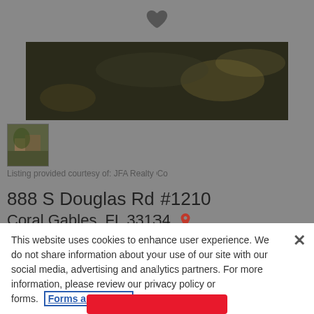[Figure (photo): Heart/favorite icon in gray header area]
[Figure (photo): Main property photo showing dark outdoor scene with foliage]
[Figure (photo): Small thumbnail of property with building visible]
Listing provided courtesy of: JFA Realty Co
888 S Douglas Rd #1210
Coral Gables, FL 33134
2 Beds | 2 Baths | 1,152 sq. ft. | Condo/Townhouse | MLS# A11159483
This website uses cookies to enhance user experience. We do not share information about your use of our site with our social media, advertising and analytics partners. For more information, please review our privacy policy or forms. Forms and Policy